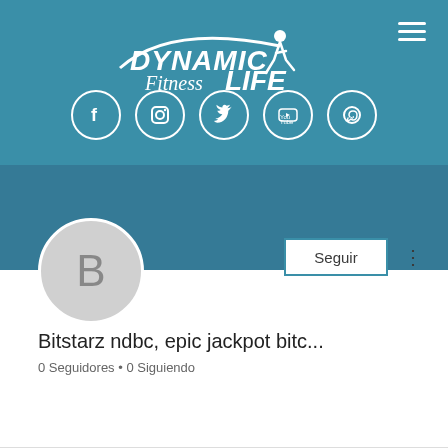[Figure (screenshot): Mobile app profile page for Dynamic Fitness Life. Shows a teal/blue banner with the Dynamic Fitness Life logo at top, social media icons (Facebook, Instagram, Twitter, YouTube, WhatsApp) in circles below the logo, a hamburger menu icon top-right. Below the banner is a profile section with a grey avatar circle with letter B, a 'Seguir' (Follow) button, and a three-dot menu. The profile name reads 'Bitstarz ndbc, epic jackpot bitc...' with '0 Seguidores • 0 Siguiendo' below.]
Bitstarz ndbc, epic jackpot bitc...
0 Seguidores • 0 Siguiendo